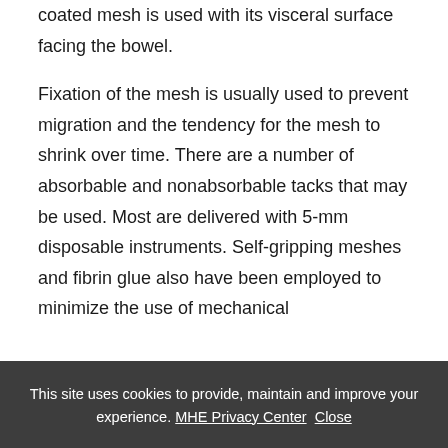coated mesh is used with its visceral surface facing the bowel.
Fixation of the mesh is usually used to prevent migration and the tendency for the mesh to shrink over time. There are a number of absorbable and nonabsorbable tacks that may be used. Most are delivered with 5-mm disposable instruments. Self-gripping meshes and fibrin glue also have been employed to minimize the use of mechanical
This site uses cookies to provide, maintain and improve your experience. MHE Privacy Center Close